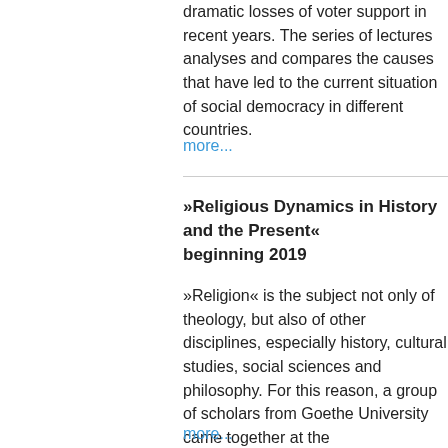dramatic losses of voter support in recent years. The series of lectures analyses and compares the causes that have led to the current situation of social democracy in different countries.
more...
»Religious Dynamics in History and the Present« beginning 2019
»Religion« is the subject not only of theology, but also of other disciplines, especially history, cultural studies, social sciences and philosophy. For this reason, a group of scholars from Goethe University came together at the Forschungskolleg Humanwissenschaften in 2019 to exchange views on their respective religion-related research.
more...